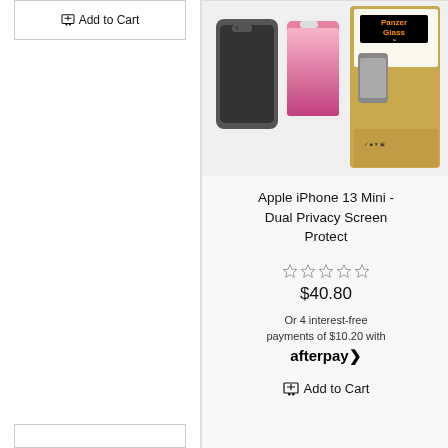Add to Cart
[Figure (photo): PanzerGlass product photo showing iPhone 13 Mini with dual privacy screen protector and retail packaging]
Apple iPhone 13 Mini - Dual Privacy Screen Protect
☆☆☆☆☆
$40.80
Or 4 interest-free payments of $10.20 with afterpay
Add to Cart